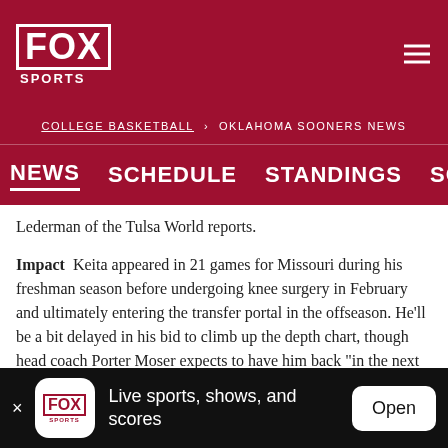FOX SPORTS
COLLEGE BASKETBALL > OKLAHOMA SOONERS NEWS
NEWS  SCHEDULE  STANDINGS  SOCIAL  ROSTER
Lederman of the Tulsa World reports.
Impact  Keita appeared in 21 games for Missouri during his freshman season before undergoing knee surgery in February and ultimately entering the transfer portal in the offseason. He'll be a bit delayed in his bid to climb up the depth chart, though head coach Porter Moser expects to have him back "in the next month or so." In the meantime, projected starter Tanner Groves will get plenty of reps at center.
AUGUST 1 • ROTOWIRE
Live sports, shows, and scores